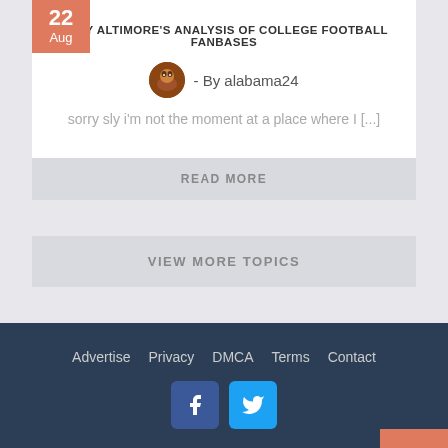TONY ALTIMORE'S ANALYSIS OF COLLEGE FOOTBALL FANBASES
- By alabama24
sorry sly i'm not the moment at a place where I [...]
READ MORE
VIEW MORE TOPICS
Advertise   Privacy   DMCA   Terms   Contact
HandCrafted With ❤ and 🖥 By SiteSplat – Powered By phpBB